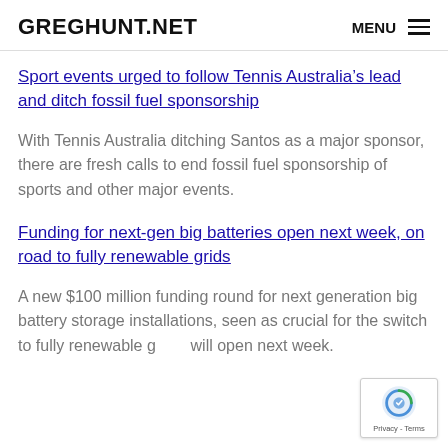GREGHUNT.NET  MENU
Sport events urged to follow Tennis Australia's lead and ditch fossil fuel sponsorship
With Tennis Australia ditching Santos as a major sponsor, there are fresh calls to end fossil fuel sponsorship of sports and other major events.
Funding for next-gen big batteries open next week, on road to fully renewable grids
A new $100 million funding round for next generation big battery storage installations, seen as crucial for the switch to fully renewable grids, will open next week.